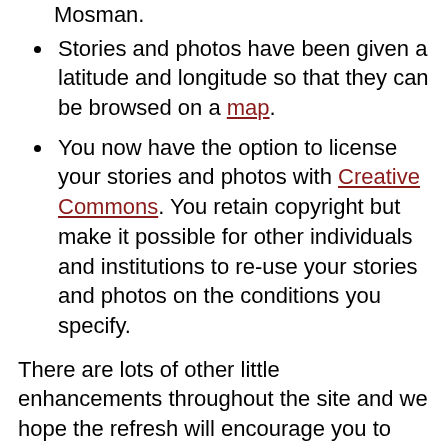Mosman.
Stories and photos have been given a latitude and longitude so that they can be browsed on a map.
You now have the option to license your stories and photos with Creative Commons. You retain copyright but make it possible for other individuals and institutions to re-use your stories and photos on the conditions you specify.
There are lots of other little enhancements throughout the site and we hope the refresh will encourage you to browse the many contributions and comments… and prompt you to add your memories of Mosman.